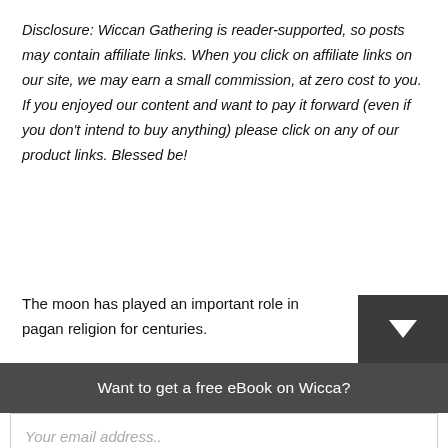Disclosure: Wiccan Gathering is reader-supported, so posts may contain affiliate links. When you click on affiliate links on our site, we may earn a small commission, at zero cost to you. If you enjoyed our content and want to pay it forward (even if you don't intend to buy anything) please click on any of our product links. Blessed be!
The moon has played an important role in pagan religion for centuries.
Want to get a free eBook on Wicca?
Your email address..